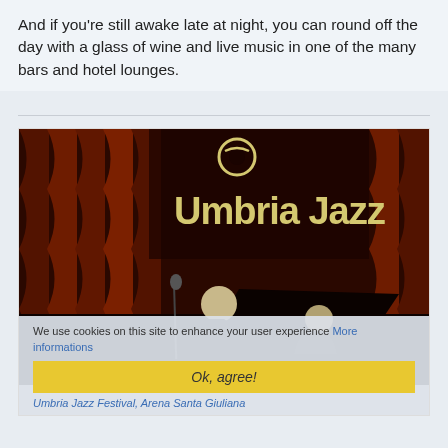And if you're still awake late at night, you can round off the day with a glass of wine and live music in one of the many bars and hotel lounges.
[Figure (photo): Concert photo at Umbria Jazz Festival, Arena Santa Giuliana. A performer in a black suit leans over a grand piano on stage. Behind them is a large sign reading 'Umbria Jazz' with the festival logo above it. The backdrop has orange and red decorative draping.]
Umbria Jazz Festival, Arena Santa Giuliana